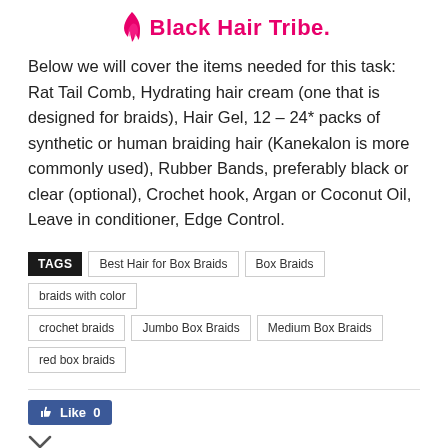Black Hair Tribe.
Below we will cover the items needed for this task: Rat Tail Comb, Hydrating hair cream (one that is designed for braids), Hair Gel, 12 – 24* packs of synthetic or human braiding hair (Kanekalon is more commonly used), Rubber Bands, preferably black or clear (optional), Crochet hook, Argan or Coconut Oil, Leave in conditioner, Edge Control.
TAGS  Best Hair for Box Braids  Box Braids  braids with color  crochet braids  Jumbo Box Braids  Medium Box Braids  red box braids